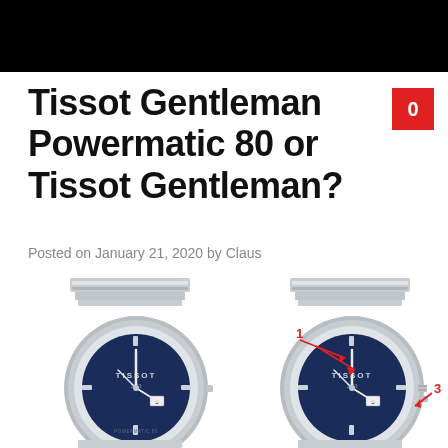Tissot Gentleman Powermatic 80 or Tissot Gentleman?
Posted on January 21, 2020 by Claus
[Figure (photo): Two Tissot Gentleman watches side by side with blue dials and silver bracelets. The right watch has red annotation arrows labeled 1 and 3 pointing to features on the watch case and crown area.]